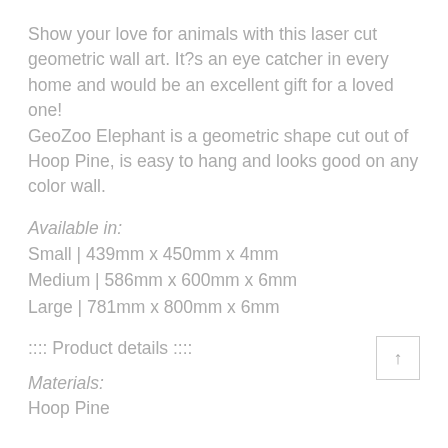Show your love for animals with this laser cut geometric wall art. It?s an eye catcher in every home and would be an excellent gift for a loved one!
GeoZoo Elephant is a geometric shape cut out of Hoop Pine, is easy to hang and looks good on any color wall.
Available in:
Small | 439mm x 450mm x 4mm
Medium | 586mm x 600mm x 6mm
Large | 781mm x 800mm x 6mm
:::: Product details ::::
Materials:
Hoop Pine